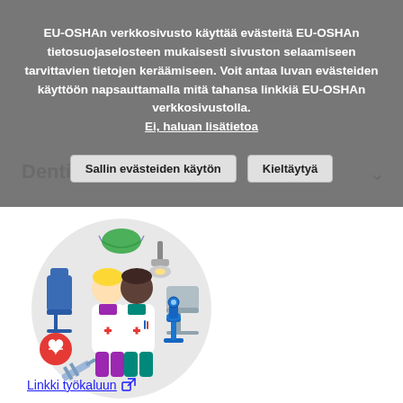EU-OSHAn verkkosivusto käyttää evästeitä EU-OSHAn tietosuojaselosteen mukaisesti sivuston selaamiseen tarvittavien tietojen keräämiseen. Voit antaa luvan evästeiden käyttöön napsauttamalla mitä tahansa linkkiä EU-OSHAn verkkosivustolla.
Ei, haluan lisätietoa
Sallin evästeiden käytön
Kieltäytyä
Dentist's practice
[Figure (illustration): Circular illustration showing two healthcare workers (one with blonde hair in a white coat, one with dark skin in a white coat) surrounded by medical icons: a face mask, a dental chair, a heart monitor, a syringe, a microscope, and a dental/exam chair, on a light grey circular background.]
Linkki työkaluun 🔗